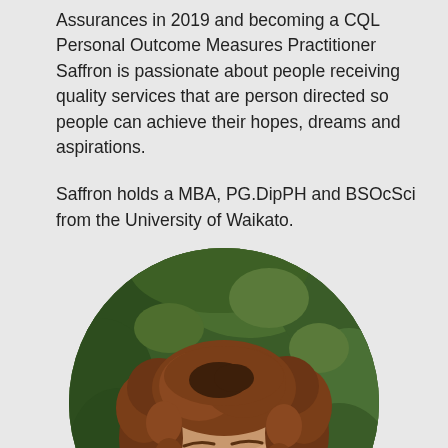Assurances in 2019 and becoming a CQL Personal Outcome Measures Practitioner Saffron is passionate about people receiving quality services that are person directed so people can achieve their hopes, dreams and aspirations.
Saffron holds a MBA, PG.DipPH and BSOcSci from the University of Waikato.
[Figure (photo): Circular portrait photo of a woman with curly auburn/brown hair smiling, photographed outdoors with green foliage in the background.]